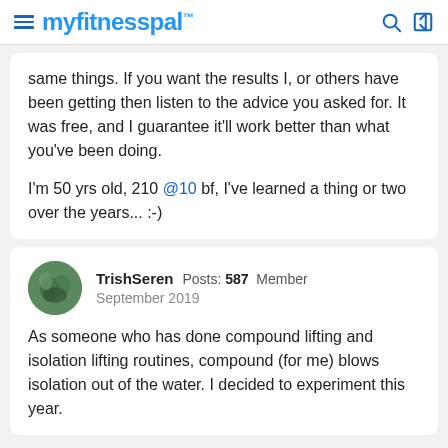myfitnesspal
same things. If you want the results I, or others have been getting then listen to the advice you asked for. It was free, and I guarantee it'll work better than what you've been doing.

I'm 50 yrs old, 210 @10 bf, I've learned a thing or two over the years... :-)
TrishSeren  Posts: 587  Member
September 2019

As someone who has done compound lifting and isolation lifting routines, compound (for me) blows isolation out of the water. I decided to experiment this year.